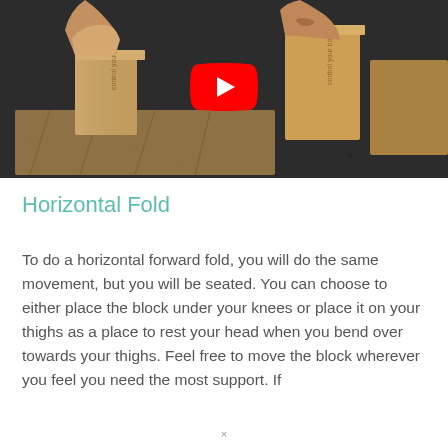[Figure (photo): Video thumbnail showing hands placing cork yoga blocks on a dark asphalt floor, with a YouTube play button overlay in the center.]
Horizontal Fold
To do a horizontal forward fold, you will do the same movement, but you will be seated. You can choose to either place the block under your knees or place it on your thighs as a place to rest your head when you bend over towards your thighs. Feel free to move the block wherever you feel you need the most support. If
×